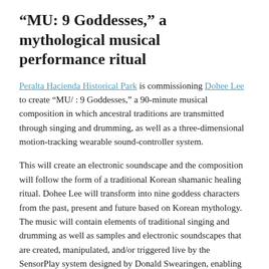“MU: 9 Goddesses,” a mythological musical performance ritual
Peralta Hacienda Historical Park is commissioning Dohee Lee to create “MU/ : 9 Goddesses,” a 90-minute musical composition in which ancestral traditions are transmitted through singing and drumming, as well as a three-dimensional motion-tracking wearable sound-controller system.
This will create an electronic soundscape and the composition will follow the form of a traditional Korean shamanic healing ritual. Dohee Lee will transform into nine goddess characters from the past, present and future based on Korean mythology. The music will contain elements of traditional singing and drumming as well as samples and electronic soundscapes that are created, manipulated, and/or triggered live by the SensorPlay system designed by Donald Swearingen, enabling Dohee’s entire body to